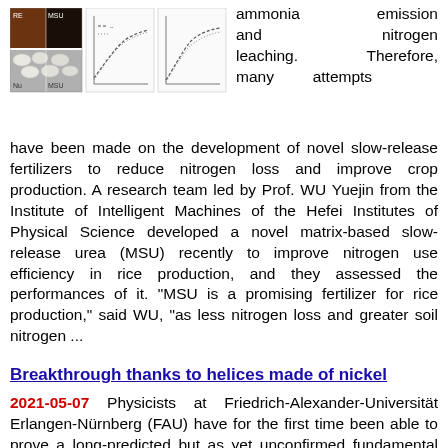[Figure (photo): Top section with photos of rice/fertilizer samples (top row: RE and MSU labeled images, bottom row: Nu and MSU labeled images) and two curve/graph charts next to them]
ammonia emission and nitrogen leaching. Therefore, many attempts have been made on the development of novel slow-release fertilizers to reduce nitrogen loss and improve crop production. A research team led by Prof. WU Yuejin from the Institute of Intelligent Machines of the Hefei Institutes of Physical Science developed a novel matrix-based slow-release urea (MSU) recently to improve nitrogen use efficiency in rice production, and they assessed the performances of it. "MSU is a promising fertilizer for rice production," said WU, "as less nitrogen loss and greater soil nitrogen ...
Breakthrough thanks to helices made of nickel
2021-05-07 Physicists at Friedrich-Alexander-Universität Erlangen-Nürnberg (FAU) have for the first time been able to prove a long-predicted but as yet unconfirmed fundamental effect. In Faraday chiral anisotropy, the properties and characteristics of light as expressed by absorption and refraction can vary depending on...